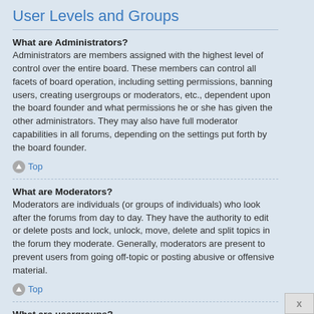User Levels and Groups
What are Administrators?
Administrators are members assigned with the highest level of control over the entire board. These members can control all facets of board operation, including setting permissions, banning users, creating usergroups or moderators, etc., dependent upon the board founder and what permissions he or she has given the other administrators. They may also have full moderator capabilities in all forums, depending on the settings put forth by the board founder.
Top
What are Moderators?
Moderators are individuals (or groups of individuals) who look after the forums from day to day. They have the authority to edit or delete posts and lock, unlock, move, delete and split topics in the forum they moderate. Generally, moderators are present to prevent users from going off-topic or posting abusive or offensive material.
Top
What are usergroups?
Usergroups are groups of users that divide the community into manageable